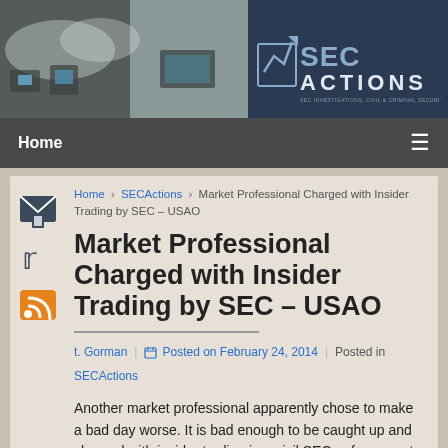[Figure (logo): SEC Actions website banner/logo with photo of trading screens on left and SEC ACTIONS logo on right on dark blue background]
Home ≡
Home › SECActions › Market Professional Charged with Insider Trading by SEC – USAO
Market Professional Charged with Insider Trading by SEC – USAO
t. Gorman | Posted on February 24, 2014 | Posted in SECActions
Another market professional apparently chose to make a bad day worse. It is bad enough to be caught up and charged with insider trading in a civil SEC enforcement action. It is worse to have those claims and criminal insider trading and false statement charges added. Yet